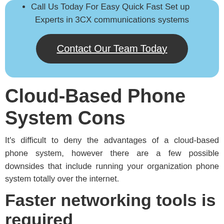Call Us Today For Easy Quick Fast Set up
Experts in 3CX communications systems
Contact Our Team Today
Cloud-Based Phone System Cons
It's difficult to deny the advantages of a cloud-based phone system, however there are a few possible downsides that include running your organization phone system totally over the internet.
Faster networking tools is required